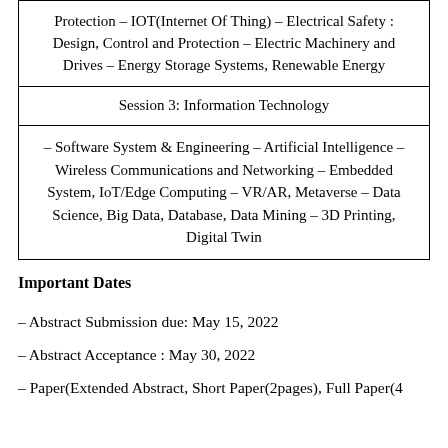| Protection – IOT(Internet Of Thing) – Electrical Safety : Design, Control and Protection – Electric Machinery and Drives – Energy Storage Systems, Renewable Energy |
| Session 3: Information Technology |
| – Software System & Engineering – Artificial Intelligence – Wireless Communications and Networking – Embedded System, IoT/Edge Computing – VR/AR, Metaverse – Data Science, Big Data, Database, Data Mining – 3D Printing, Digital Twin |
Important Dates
– Abstract Submission due: May 15, 2022
– Abstract Acceptance : May 30, 2022
– Paper(Extended Abstract, Short Paper(2pages), Full Paper(4